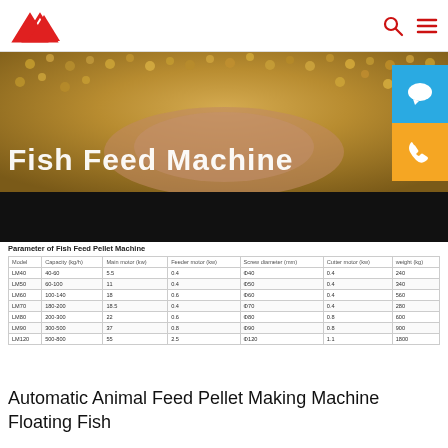AIMA logo, search and menu icons
[Figure (photo): Hero banner image showing fish feed pellets (golden/yellow granules) with a hand, overlaid with text 'Fish Feed Machine' in white bold font. Below is a dark/black section. Chat and phone widgets visible on the right side.]
| Model | Capacity (kg/h) | Main motor (kw) | Feeder motor (kw) | Screw diameter (mm) | Cutter motor (kw) | weight (kg) |
| --- | --- | --- | --- | --- | --- | --- |
| LM40 | 40-60 | 5.5 | 0.4 | Φ40 | 0.4 | 240 |
| LM50 | 60-100 | 11 | 0.4 | Φ50 | 0.4 | 340 |
| LM60 | 100-140 | 18 | 0.6 | Φ60 | 0.4 | 560 |
| LM70 | 180-200 | 18.5 | 0.4 | Φ70 | 0.4 | 280 |
| LM80 | 200-300 | 22 | 0.6 | Φ80 | 0.8 | 600 |
| LM90 | 300-500 | 37 | 0.8 | Φ90 | 0.8 | 900 |
| LM120 | 500-800 | 55 | 2.5 | Φ120 | 1.1 | 1800 |
Automatic Animal Feed Pellet Making Machine Floating Fish